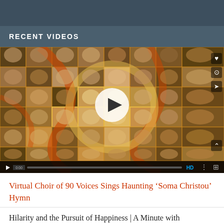RECENT VIDEOS
[Figure (screenshot): Video player showing a virtual choir mosaic of approximately 90 singers arranged in a grid, with warm golden/orange tones, a white play button overlay in the center, sidebar icons (heart, clock, share), an up-arrow button, and a dark video control bar at the bottom with play icon, progress bar, timestamp, and HD/settings controls.]
Virtual Choir of 90 Voices Sings Haunting ‘Soma Christou’ Hymn
Hilarity and the Pursuit of Happiness | A Minute with